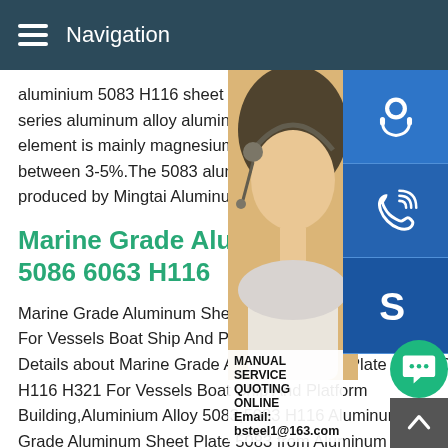Navigation
aluminium 5083 H116 sheet plate is a mo series aluminum alloy aluminum plate seri element is mainly magnesium,and the ma between 3-5%.The 5083 aluminum alloy H produced by Mingtai Aluminum is a hot-ro
[Figure (photo): Photo of a woman wearing a headset, customer service representative, with blue icon buttons for customer service, phone, and Skype overlaid on the right side. A manual service quoting overlay and email address (bsteel1@163.com) are visible at the bottom of the image.]
Marine Grade Aluminum Shee 5086 6063 H116
Marine Grade Aluminum Sheet Plate 5083 For Vessels Boat Ship And Platform Buildi Details about Marine Grade Aluminum Sheet Plate 5083 5086 6063 H116 H321 For Vessels Boat Ship And Platform Building,Aluminium Alloy 5083,5083 H116 Aluminum Plate,Marine Grade Aluminum Sheet Plate 5083 from Aluminum Sheets Su or ManufacturerMarine Grade Aluminum 5083 and 5086 alumi plate The Marine Grade Aluminum produced by Mingtai Alumi